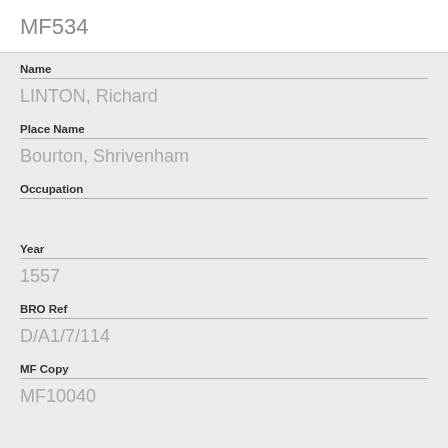MF534
Name
LINTON, Richard
Place Name
Bourton, Shrivenham
Occupation
Year
1557
BRO Ref
D/A1/7/114
MF Copy
MF10040